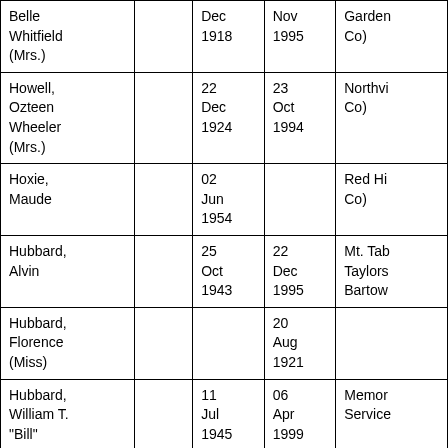| Belle Whitfield (Mrs.) |  | Dec 1918 | Nov 1995 | Garden Co) |
| Howell, Ozteen Wheeler (Mrs.) |  | 22 Dec 1924 | 23 Oct 1994 | Northvi Co) |
| Hoxie, Maude |  | 02 Jun 1954 |  | Red Hi Co) |
| Hubbard, Alvin |  | 25 Oct 1943 | 22 Dec 1995 | Mt. Tab Taylors Bartow |
| Hubbard, Florence (Miss) |  |  | 20 Aug 1921 |  |
| Hubbard, William T. "Bill" |  | 11 Jul 1945 | 06 Apr 1999 | Memor Service |